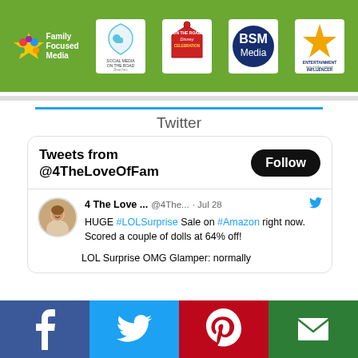[Figure (logo): Green header bar with five logos: Family Focused Media, Social Media on the Road, Disney On The Road Celebration, BSM Media, Entertainment New Media Network Influencer]
Twitter
Tweets from @4TheLoveOfFam
4 The Love ... @4The... · Jul 28 HUGE #LOLSurprise Sale on #Amazon right now. Scored a couple of dolls at 64% off!

LOL Surprise OMG Glamper: normally
[Figure (infographic): Bottom social sharing bar with Facebook, Twitter, Pinterest, and email icons]